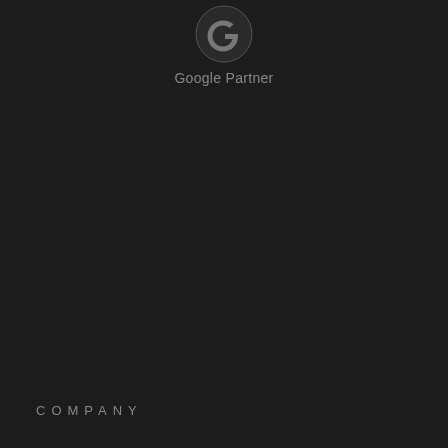[Figure (logo): Google Partner logo — Google 'G' icon in grey on dark background with 'Google Partner' text below]
COMPANY